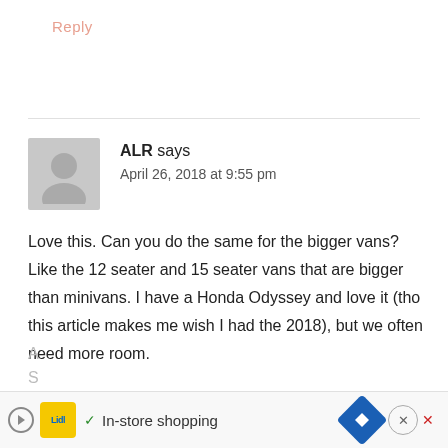Reply
ALR says
April 26, 2018 at 9:55 pm
Love this. Can you do the same for the bigger vans? Like the 12 seater and 15 seater vans that are bigger than minivans. I have a Honda Odyssey and love it (tho this article makes me wish I had the 2018), but we often need more room.
[Figure (infographic): Lidl advertisement banner with play button, Lidl logo, checkmark, 'In-store shopping' text, navigation arrow icon, and close button]